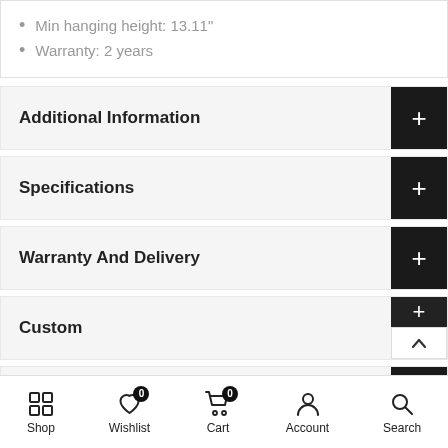Min hanging height: 13.11"
Warranty: 2 years
Additional Information
Specifications
Warranty And Delivery
Custom
Reviews
ADD TO CART
Shop  Wishlist  Cart  Account  Search